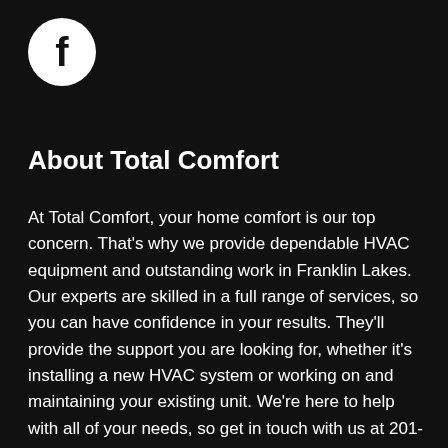[Figure (logo): Facebook logo: white letter f on a black circle]
About Total Comfort
At Total Comfort, your home comfort is our top concern. That's why we provide dependable HVAC equipment and outstanding work in Franklin Lakes. Our experts are skilled in a full range of services, so you can have confidence in your results. They'll provide the support you are looking for, whether it's installing a new HVAC system or working on and maintaining your existing unit. We're here to help with all of your needs, so get in touch with us at 201-268-5663 or contact us online to schedule an appointment now.